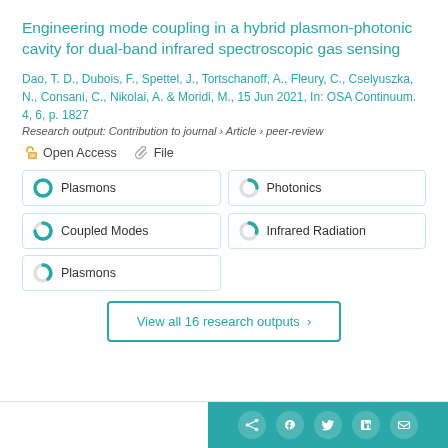Engineering mode coupling in a hybrid plasmon-photonic cavity for dual-band infrared spectroscopic gas sensing
Dao, T. D., Dubois, F., Spettel, J., Tortschanoff, A., Fleury, C., Cselyuszka, N., Consani, C., Nikolai, A. & Moridi, M., 15 Jun 2021, In: OSA Continuum. 4, 6, p. 1827
Research output: Contribution to journal › Article › peer-review
Open Access   File
Plasmons
Photonics
Coupled Modes
Infrared Radiation
Plasmons
View all 16 research outputs ›